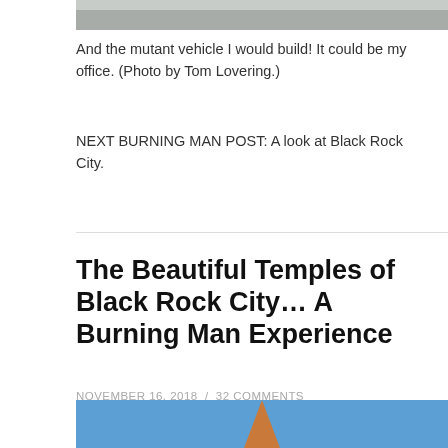[Figure (photo): Top portion of a mutant vehicle photo, cropped at top of page]
And the mutant vehicle I would build! It could be my office. (Photo by Tom Lovering.)
NEXT BURNING MAN POST: A look at Black Rock City.
The Beautiful Temples of Black Rock City… A Burning Man Experience
NOVEMBER 16, 2018 / 32 COMMENTS
[Figure (photo): Bottom portion of a photo showing blue sky and a triangular orange temple structure at Burning Man]